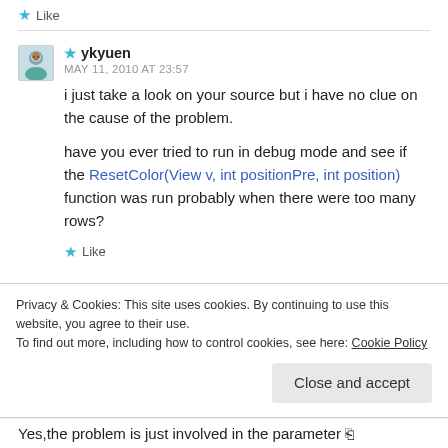★ Like
★ ykyuen
MAY 11, 2010 AT 23:57
i just take a look on your source but i have no clue on the cause of the problem.

have you ever tried to run in debug mode and see if the ResetColor(View v, int positionPre, int position) function was run probably when there were too many rows?
★ Like
Privacy & Cookies: This site uses cookies. By continuing to use this website, you agree to their use.
To find out more, including how to control cookies, see here: Cookie Policy
Close and accept
Yes,the problem is just involved in the parameter